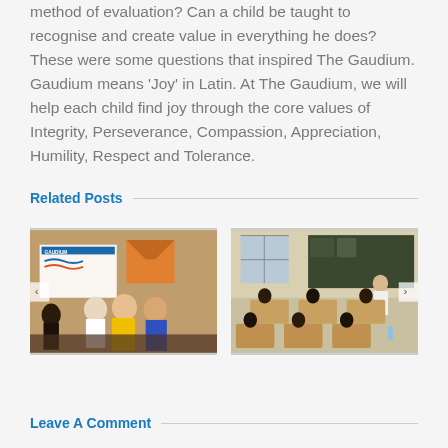method of evaluation? Can a child be taught to recognise and create value in everything he does? These were some questions that inspired The Gaudium. Gaudium means ‘Joy’ in Latin. At The Gaudium, we will help each child find joy through the core values of Integrity, Perseverance, Compassion, Appreciation, Humility, Respect and Tolerance.
Related Posts
[Figure (photo): Group of women seated on stage at a Gaudium school event with a Gaudium logo banner visible in the background]
[Figure (photo): Person presenting or teaching in a classroom to students seated at desks]
Leave A Comment